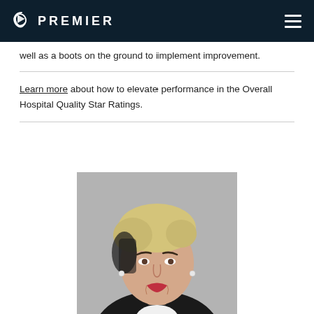PREMIER
well as a boots on the ground to implement improvement.
Learn more about how to elevate performance in the Overall Hospital Quality Star Ratings.
[Figure (photo): Headshot photograph of a woman with short blonde hair, wearing a black jacket and white shirt, smiling, against a gray background.]